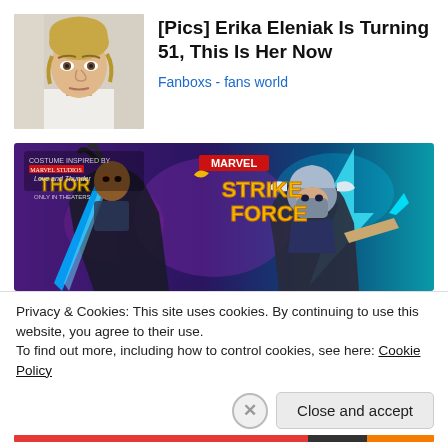[Figure (photo): Thumbnail photo of blonde woman (Erika Eleniak)]
[Pics] Erika Eleniak Is Turning 51, This Is Her Now
Fanboxs - fans world
[Figure (photo): Marvel Strike Force advertising banner featuring two female superheroes, with Thor Love and Thunder branding]
Privacy & Cookies: This site uses cookies. By continuing to use this website, you agree to their use.
To find out more, including how to control cookies, see here: Cookie Policy
Close and accept